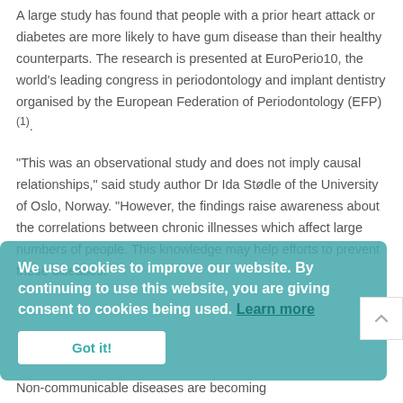A large study has found that people with a prior heart attack or diabetes are more likely to have gum disease than their healthy counterparts. The research is presented at EuroPerio10, the world's leading congress in periodontology and implant dentistry organised by the European Federation of Periodontology (EFP) (1).
"This was an observational study and does not imply causal relationships," said study author Dr Ida Stødle of the University of Oslo, Norway. "However, the findings raise awareness about the correlations between chronic illnesses which affect large numbers of people. This knowledge may help efforts to prevent these diseases."
We use cookies to improve our website. By continuing to use this website, you are giving consent to cookies being used. Learn more
Got it!
Non-communicable diseases are becoming